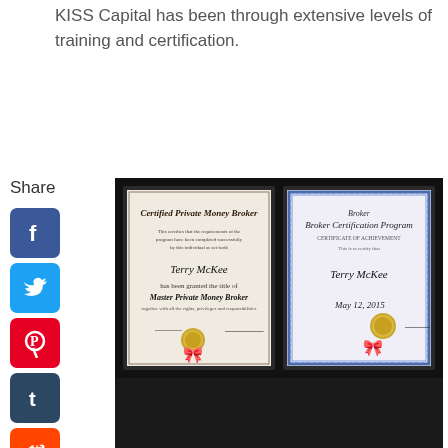KISS Capital has been through extensive levels of training and certification.
[Figure (photo): Two framed certificates side by side: 'Certified Private Money Broker' awarded to Terry McKee as Master Private Money Broker, and a 'Broker Certification Program' certificate also awarded to Terry McKee dated May 12, 2015. Both certificates have gold seals and blue ribbons.]
Comments
Have your say about what you just read! Leave me a comment in the box below.